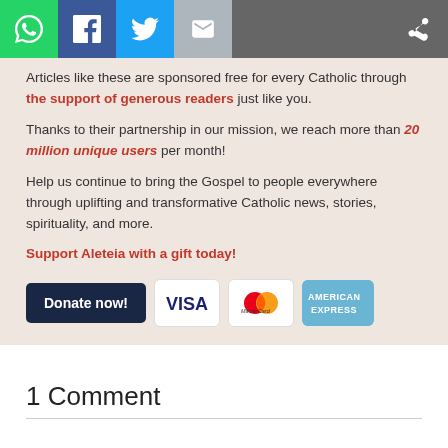[Figure (screenshot): Social media sharing bar with WhatsApp, Facebook, Twitter, Email icons and a share icon on the right]
Articles like these are sponsored free for every Catholic through the support of generous readers just like you.
Thanks to their partnership in our mission, we reach more than 20 million unique users per month!
Help us continue to bring the Gospel to people everywhere through uplifting and transformative Catholic news, stories, spirituality, and more.
Support Aleteia with a gift today!
[Figure (other): Donate now button followed by VISA, MasterCard, and American Express payment logos]
1 Comment